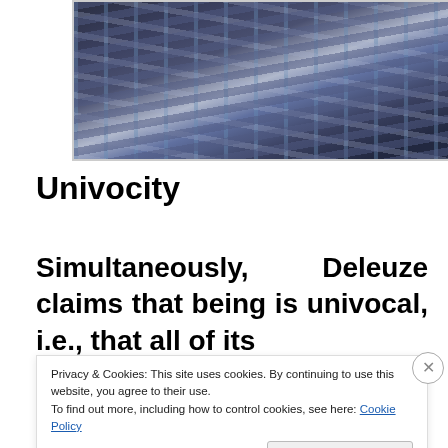[Figure (photo): Abstract painting with dark blue, grey, and muted tones, textured brushwork]
Univocity
Simultaneously, Deleuze claims that being is univocal, i.e., that all of its
Privacy & Cookies: This site uses cookies. By continuing to use this website, you agree to their use.
To find out more, including how to control cookies, see here: Cookie Policy
Close and accept